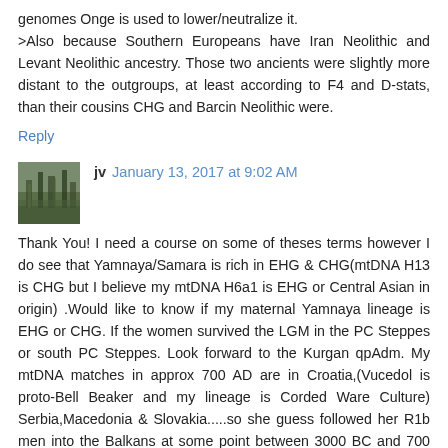genomes Onge is used to lower/neutralize it.
>Also because Southern Europeans have Iran Neolithic and Levant Neolithic ancestry. Those two ancients were slightly more distant to the outgroups, at least according to F4 and D-stats, than their cousins CHG and Barcin Neolithic were.
Reply
jv  January 13, 2017 at 9:02 AM
Thank You! I need a course on some of theses terms however I do see that Yamnaya/Samara is rich in EHG & CHG(mtDNA H13 is CHG but I believe my mtDNA H6a1 is EHG or Central Asian in origin) .Would like to know if my maternal Yamnaya lineage is EHG or CHG. If the women survived the LGM in the PC Steppes or south PC Steppes. Look forward to the Kurgan qpAdm. My mtDNA matches in approx 700 AD are in Croatia,(Vucedol is proto-Bell Beaker and my lineage is Corded Ware Culture) Serbia,Macedonia & Slovakia.....so she guess followed her R1b men into the Balkans at some point between 3000 BC and 700 AD...jv